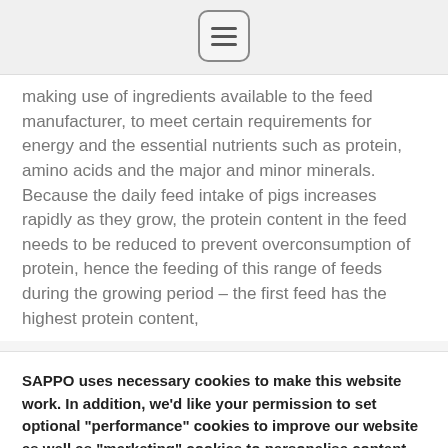[menu icon]
making use of ingredients available to the feed manufacturer, to meet certain requirements for energy and the essential nutrients such as protein, amino acids and the major and minor minerals. Because the daily feed intake of pigs increases rapidly as they grow, the protein content in the feed needs to be reduced to prevent overconsumption of protein, hence the feeding of this range of feeds during the growing period – the first feed has the highest protein content,
SAPPO uses necessary cookies to make this website work. In addition, we'd like your permission to set optional "performance" cookies to improve our website as well as "marketing" cookies to personalise content and advertisements. Read more
Cookie settings   Reject all   Accept all